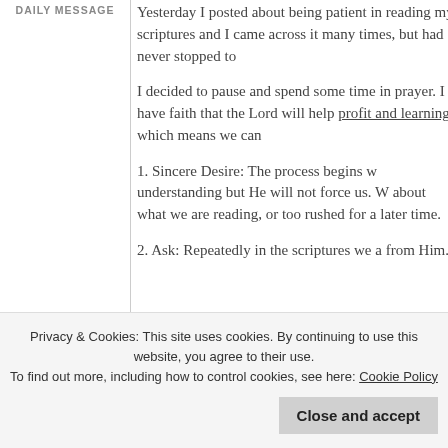DAILY MESSAGE
Yesterday I posted about being patient in reading my scriptures and I came across it many times, but had never stopped to
I decided to pause and spend some time in prayer. I have faith that the Lord will help profit and learning, which means we can
1. Sincere Desire: The process begins with understanding but He will not force us. W about what we are reading, or too rushed for a later time.
2. Ask: Repeatedly in the scriptures we a from Him.
Privacy & Cookies: This site uses cookies. By continuing to use this website, you agree to their use. To find out more, including how to control cookies, see here: Cookie Policy
search and pray that the Lord will guide